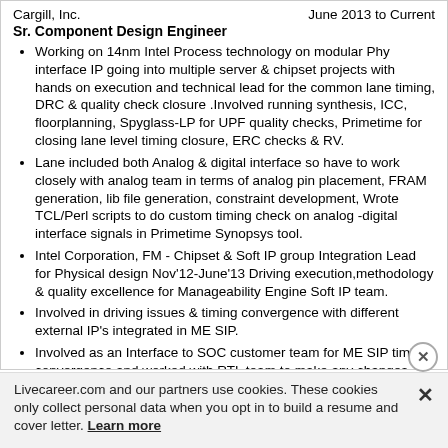Cargill, Inc.    June 2013 to Current
Sr. Component Design Engineer
Working on 14nm Intel Process technology on modular Phy interface IP going into multiple server & chipset projects with hands on execution and technical lead for the common lane timing, DRC & quality check closure .Involved running synthesis, ICC, floorplanning, Spyglass-LP for UPF quality checks, Primetime for closing lane level timing closure, ERC checks & RV.
Lane included both Analog & digital interface so have to work closely with analog team in terms of analog pin placement, FRAM generation, lib file generation, constraint development, Wrote TCL/Perl scripts to do custom timing check on analog -digital interface signals in Primetime Synopsys tool.
Intel Corporation, FM - Chipset & Soft IP group Integration Lead for Physical design Nov'12-June'13 Driving execution,methodology & quality excellence for Manageability Engine Soft IP team.
Involved in driving issues & timing convergence with different external IP's integrated in ME SIP.
Involved as an Interface to SOC customer team for ME SIP timing convergence and worked with RTL team to make any changes needed.
Livecareer.com and our partners use cookies. These cookies only collect personal data when you opt in to build a resume and cover letter. Learn more